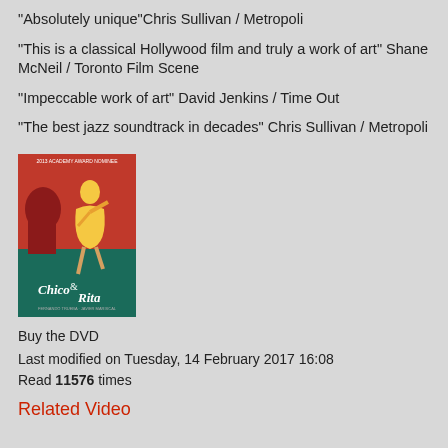"Absolutely unique"Chris Sullivan / Metropoli
"This is a classical Hollywood film and truly a work of art" Shane McNeil / Toronto Film Scene
"Impeccable work of art" David Jenkins / Time Out
"The best jazz soundtrack in decades" Chris Sullivan / Metropoli
[Figure (photo): DVD cover of Chico & Rita, 2013 Academy Award Nominee, showing animated illustration of woman in yellow dress dancing with red and teal background]
Buy the DVD
Last modified on Tuesday, 14 February 2017 16:08
Read 11576 times
Related Video